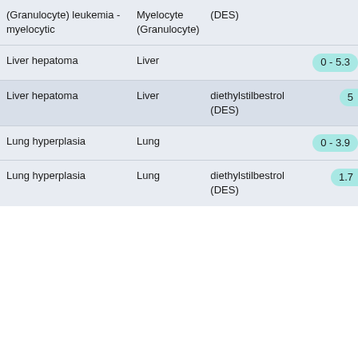| Condition | Organ | Substance | Value |
| --- | --- | --- | --- |
| (Granulocyte) leukemia - myelocytic | Myelocyte (Granulocyte) | (DES) |  |
| Liver hepatoma | Liver |  | 0 - 5.3 |
| Liver hepatoma | Liver | diethylstilbestrol (DES) | 5 |
| Lung hyperplasia | Lung |  | 0 - 3.9 |
| Lung hyperplasia | Lung | diethylstilbestrol (DES) | 1.7 |